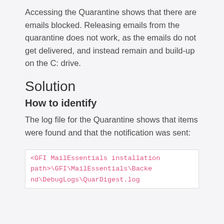Accessing the Quarantine shows that there are emails blocked. Releasing emails from the quarantine does not work, as the emails do not get delivered, and instead remain and build-up on the C: drive.
Solution
How to identify
The log file for the Quarantine shows that items were found and that the notification was sent:
<GFI MailEssentials installation path>\GFI\MailEssentials\Backend\DebugLogs\QuarDigest.log